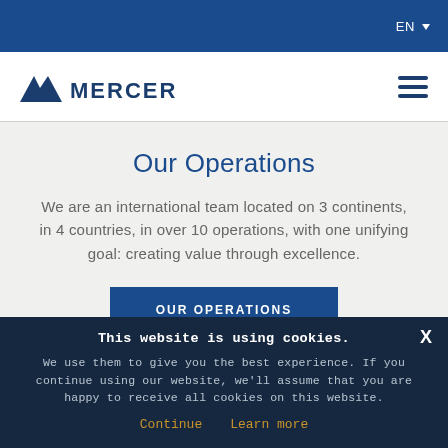EN
[Figure (logo): Mercer logo with mountain symbol and text MERCER in dark blue]
Our Operations
We are an international team located on 3 continents, in 4 countries, in over 10 operations, with one unifying goal: creating value through excellence.
OUR OPERATIONS
This website is using cookies.
We use them to give you the best experience. If you continue using our website, we'll assume that you are happy to receive all cookies on this website.
Continue   Learn more